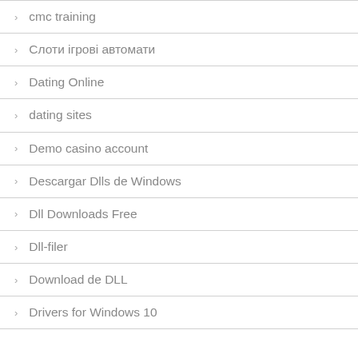cmc training
Слоти ігрові автомати
Dating Online
dating sites
Demo casino account
Descargar Dlls de Windows
Dll Downloads Free
Dll-filer
Download de DLL
Drivers for Windows 10